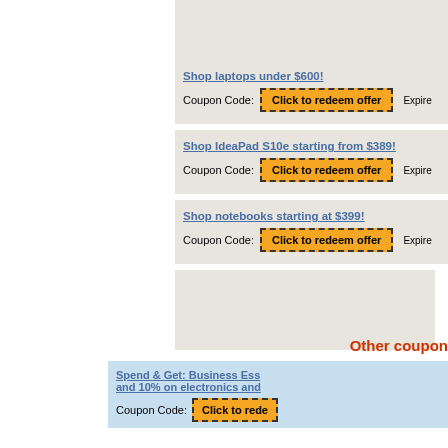Shop laptops under $600!
Coupon Code: Click to redeem offer Expire
Shop IdeaPad S10e starting from $389!
Coupon Code: Click to redeem offer Expire
Shop notebooks starting at $399!
Coupon Code: Click to redeem offer Expire
Other coupon
Spend & Get: Business Ess and 10% on electronics and
Coupon Code: Click to rede